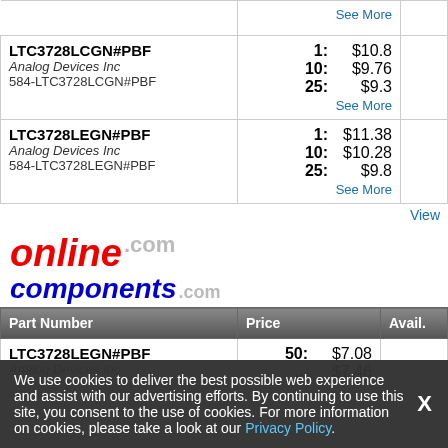| Part Number | Price | Avail. |
| --- | --- | --- |
| (See More row top) | See More |  |
| LTC3728LCGN#PBF
Analog Devices Inc
584-LTC3728LCGN#PBF | 1: $10.8
10: $9.76
25: $9.3
See More |  |
| LTC3728LEGN#PBF
Analog Devices Inc
584-LTC3728LEGN#PBF | 1: $11.38
10: $10.28
25: $9.8
See More |  |
View
[Figure (logo): online components .com logo — 'online' in red italic bold, '.com' in gray, 'components' in blue italic bold]
| Part Number | Price | Avail. |
| --- | --- | --- |
| LTC3728LEGN#PBF
Analog Devices Inc | 50: $7.08
...: $7.46 |  |
We use cookies to deliver the best possible web experience and assist with our advertising efforts. By continuing to use this site, you consent to the use of cookies. For more information on cookies, please take a look at our Privacy Policy.